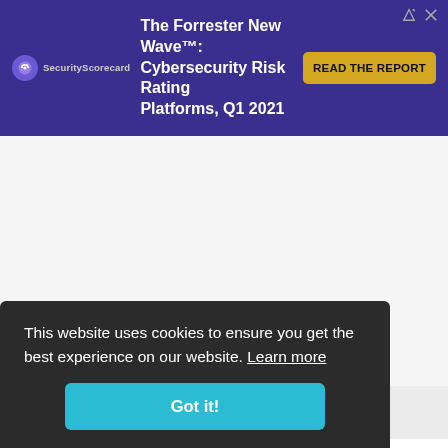[Figure (other): SecurityScorecard advertisement banner: The Forrester New Wave: Cybersecurity Risk Rating Platforms, Q1 2021 with READ THE REPORT button]
UNIVERSITY TECHNICAL COLLEGE IN ABERAERON, CEREDIGION, WALES
UNIVERSITY TECHNICAL COLLEGE IN ABERAVON, NEATH PORT TALBOT, WALES
UNIVERSITY TECHNICAL COLLEGE IN ...EIFI, (partially visible)
UNIVERSITY TECHNICAL COLLEGE IN ...CARN, (partially visible)
This website uses cookies to ensure you get the best experience on our website. Learn more
Got it!